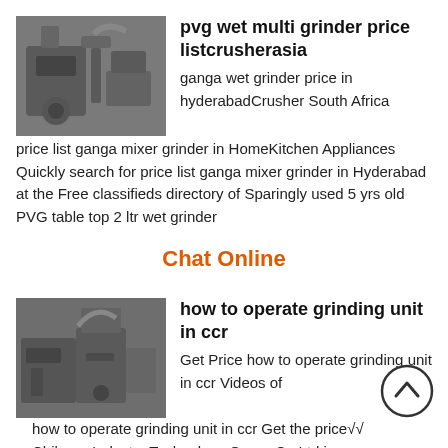[Figure (photo): Industrial grinder/crusher machine, grey tones]
pvg wet multi grinder price listcrusherasia
ganga wet grinder price in hyderabadCrusher South Africa price list ganga mixer grinder in HomeKitchen Appliances Quickly search for price list ganga mixer grinder in Hyderabad at the Free classifieds directory of Sparingly used 5 yrs old PVG table top 2 ltr wet grinder
Chat Online
[Figure (photo): Industrial grinding unit machinery, grey tones]
how to operate grinding unit in ccr
Get Price how to operate grinding unit in ccr Videos of how to operate grinding unit in ccr Get the price√√ Chibang Industry Technology Group Co Ltd is one hightech enterprise which involves R D production sales and service as well pvg wet